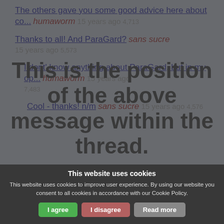The others gave you some good advice here about co... humaworm 15 years ago 4,713
Thanks to all! And ParaGard? sans sucre 15 years ago 5,573
I dont' know anything about ParaGard, but in my op... humaworm 15 years ago 7,483
Cool - thanks! n/m sans sucre 15 years ago 4,576
This is the position of the above message within the thread.
This website uses cookies
This website uses cookies to improve user experience. By using our website you consent to all cookies in accordance with our Cookie Policy.
I agree | I disagree | Read more